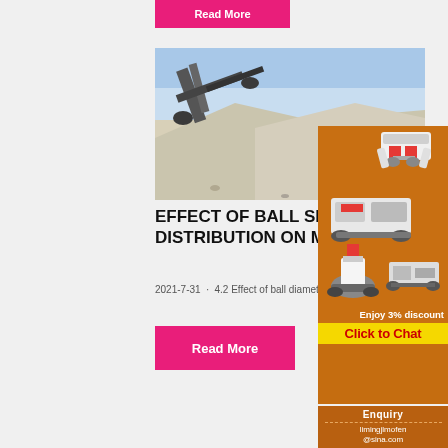[Figure (other): Partial pink 'Read More' button at top of page]
[Figure (photo): Photograph of industrial ball mill / crushing plant with large piles of crushed stone/gravel and machinery against a blue sky]
EFFECT OF BALL SIZE DISTRIBUTION ON MILLING
2021-7-31 · 4.2 Effect of ball diameter o...
[Figure (other): Pink 'Read More' button]
[Figure (illustration): Orange sidebar advertisement showing crushing/milling equipment machines with text 'Enjoy 3% discount' and 'Click to Chat' button]
Enquiry
limingjlmofen
@sina.com